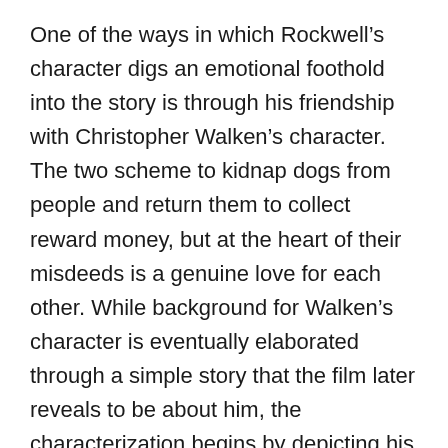One of the ways in which Rockwell's character digs an emotional foothold into the story is through his friendship with Christopher Walken's character. The two scheme to kidnap dogs from people and return them to collect reward money, but at the heart of their misdeeds is a genuine love for each other. While background for Walken's character is eventually elaborated through a simple story that the film later reveals to be about him, the characterization begins by depicting his loyalty and sense of romance to his ailing wife. She is hospital bound to a cancer ward. Seven Psychopaths isn't meek in trying to play up the music and the sympathy card. In Walken's own way, he's a disheartened psychopath, too. The film collects personal anecdotes to tally up the whole of his behavior.
During interviews for the film, Martin McDonagh did say he